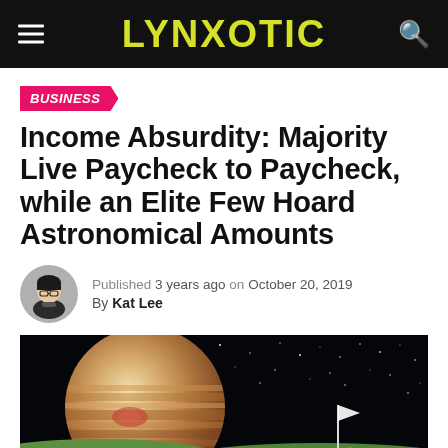LYNXOTIC
BUSINESS
Income Absurdity: Majority Live Paycheck to Paycheck, while an Elite Few Hoard Astronomical Amounts
Published 3 years ago on October 20, 2019
By Kat Lee
[Figure (illustration): Illustration of a large Jupiter-like planet in a starry night sky above a green golf course with a flag, suggesting astronomical wealth disparity.]